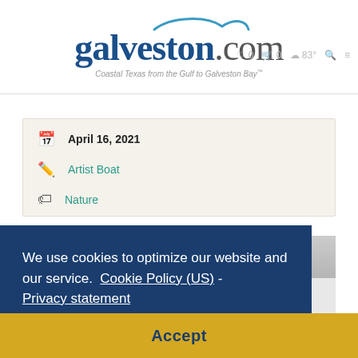galveston.com — Coastal Texas from the Gulf to Galveston Bay™
April 16, 2021
Artist Boat
Nature
[Figure (photo): Outdoor tent/canopy with people beneath, partial view]
We use cookies to optimize our website and our service.  Cookie Policy (US) -  Privacy statement
Accept